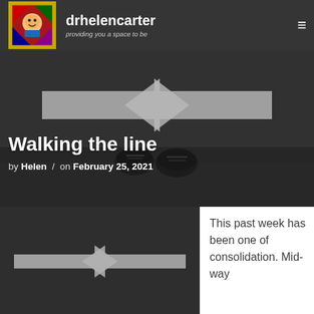drhelencarter — providing you a space to be
[Figure (photo): Hero image: dark asphalt road with large white painted arrows pointing left and right, person's sneaker-clad feet visible in center, black and white photograph]
Walking the line
by Helen / on February 25, 2021
[Figure (photo): Thumbnail image: dark asphalt road with white painted arrows pointing left and right, black and white photograph]
This past week has been one of consolidation. Mid-way